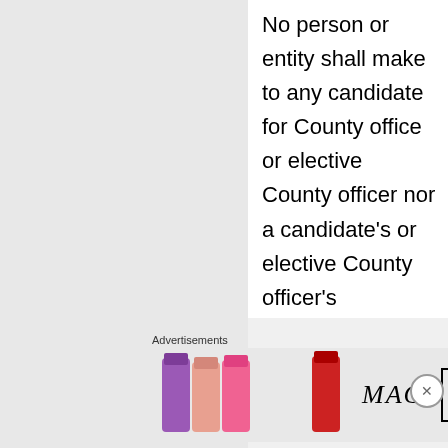No person or entity shall make to any candidate for County office or elective County officer nor a candidate's or elective County officer's controlled committee a contribution or contributions totaling more than twenty thousand dollars ($20,000) for each election. No candidate's or elective County officer's controlled committee shall accept from any person or entity a contribution or contributions totaling more than twenty thousand dollars ($20,000) for each election.
Advertisements
[Figure (photo): MAC cosmetics advertisement banner showing lipsticks in purple, peach, and pink colors, MAC logo, and SHOP NOW button]